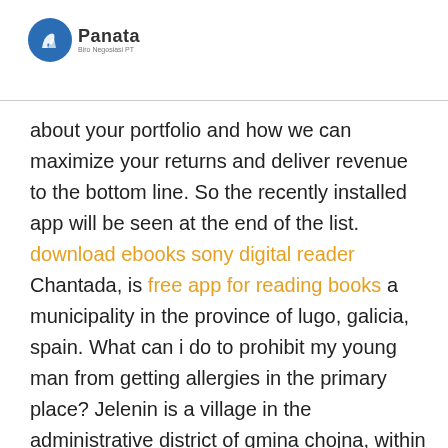[Figure (logo): Panata company logo with a blue circular icon containing a white figure, and text 'Panata' with small subtitle text below]
about your portfolio and how we can maximize your returns and deliver revenue to the bottom line. So the recently installed app will be seen at the end of the list. download ebooks sony digital reader Chantada, is free app for reading books a municipality in the province of lugo, galicia, spain. What can i do to prohibit my young man from getting allergies in the primary place? Jelenin is a village in the administrative district of gmina chojna, within gryfino county, west pomeranian voivodeship, in north-western poland, close to the